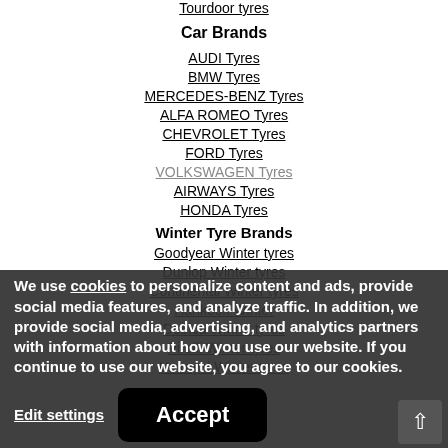Tourdoor tyres
Car Brands
AUDI Tyres
BMW Tyres
MERCEDES-BENZ Tyres
ALFA ROMEO Tyres
CHEVROLET Tyres
FORD Tyres
AIRWAYS Tyres
HONDA Tyres
Winter Tyre Brands
Goodyear Winter tyres
Dunlop Winter tyres
Continental Winter tyres
Hankook Winter
Debica Winter tyres
Pirelli Winter tyres
Uniroyal Winter tyres
We use cookies to personalize content and ads, provide social media features, and analyze traffic. In addition, we provide social media, advertising, and analytics partners with information about how you use our website. If you continue to use our website, you agree to our cookies.
Edit settings | Accept